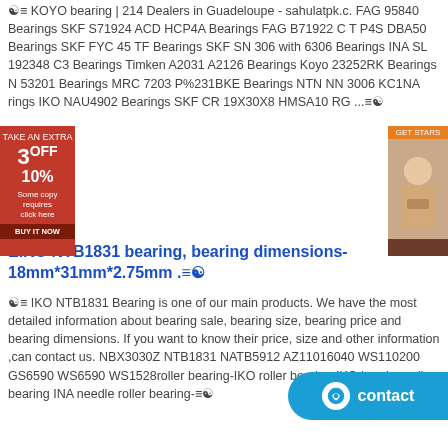☯≡ KOYO bearing | 214 Dealers in Guadeloupe - sahulatpk.c. FAG 95840 Bearings SKF S71924 ACD HCP4A Bearings FAG B71922 C T P4S DBA50 Bearings SKF FYC 45 TF Bearings SKF SN 306 with 6306 Bearings INA SL 192348 C3 Bearings Timken A2031 A2126 Bearings Koyo 23252RK Bearings N 53201 Bearings MRC 7203 P%231BKE Bearings NTN NN 3006 KC1NA rings IKO NAU4902 Bearings SKF CR 19X30X8 HMSA10 RG ...≡☯
EIKO NTB1831 bearing, bearing dimensions-18mm*31mm*2.75mm .≡☯
☯≡ IKO NTB1831 Bearing is one of our main products. We have the most detailed information about bearing sale, bearing size, bearing price and bearing dimensions. If you want to know their price, size and other information ,can contact us. NBX3030Z NTB1831 NATB5912 AZ11016040 WS110200 GS6590 WS6590 WS1528roller bearing-IKO roller bearing-IKO bearing-roller bearing INA needle roller bearing-≡☯
☯≡SKF | NJ1884MA Bearing Brackenfell | NJ1884MA Excellent ≡☯
☯≡ 25877/25820 TIMKEN bearing - menmuir.org.uk . TIMKEN 25590/25522 – Ball Roller Bearings Supplier. Bearing a is a leading online distributor of over 1,000,000 bearings and ancillary products from the world's most trusted brands including SKF, FAG, NTN, IKO. cheap TIMKEN 25590/25522 bearings for sale.≡☯